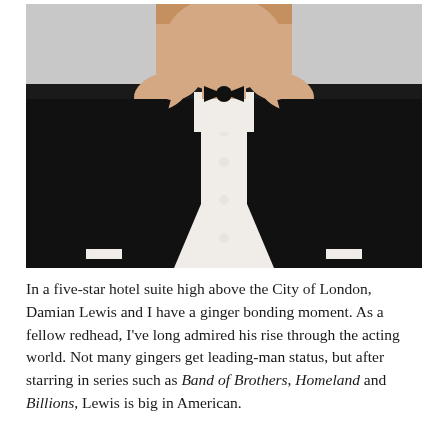[Figure (photo): A man in a black tuxedo with a white dress shirt and black bow tie, shown from the shoulders up, adjusting or touching his bow tie with both hands raised. The background is light grey.]
In a five-star hotel suite high above the City of London, Damian Lewis and I have a ginger bonding moment. As a fellow redhead, I've long admired his rise through the acting world. Not many gingers get leading-man status, but after starring in series such as Band of Brothers, Homeland and Billions, Lewis is big in American.